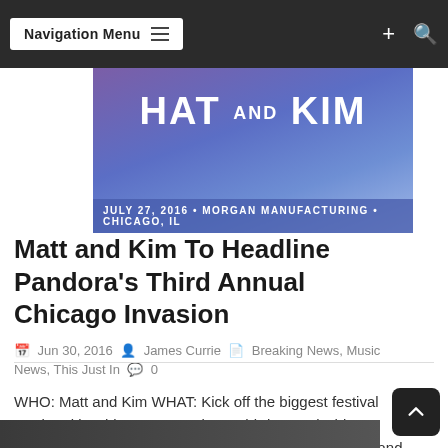Navigation Menu
[Figure (photo): Matt and Kim event banner: purple/blue gradient background with 'MATT AND KIM' text, date JULY 27, 2016 • MORGAN MANUFACTURING • CHICAGO, IL]
Matt and Kim To Headline Pandora's Third Annual Chicago Invasion
Jun 30, 2016  James Currie  Breaking News, Music News, This Just In  0
WHO: Matt and Kim WHAT: Kick off the biggest festival weekend in Chicago at Pandora's third annual Chicago Invasion – featuring an exclusive performance by Matt and Kim, free to an...